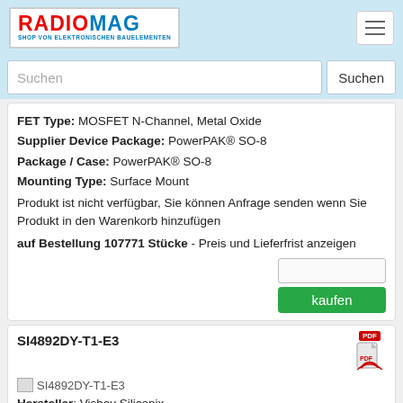RADIOMAG - SHOP VON ELEKTRONISCHEN BAUELEMENTEN
FET Type: MOSFET N-Channel, Metal Oxide
Supplier Device Package: PowerPAK® SO-8
Package / Case: PowerPAK® SO-8
Mounting Type: Surface Mount
Produkt ist nicht verfügbar, Sie können Anfrage senden wenn Sie Produkt in den Warenkorb hinzufügen
auf Bestellung 107771 Stücke - Preis und Lieferfrist anzeigen
SI4892DY-T1-E3
Hersteller: Vishay Siliconix
Description: MOSFET N-CH 30V 8.8A 8SO
Vgs (Max): ±20V
Gate Charge (Qg) (Max) @ Vgs: 10.5nC @ 5V
Vgs(th) (Max) @ Id: 800mV @ 250μA (Min)
Rds On (Max) @ Id, Vgs: 12mOhm @ 12.4A, 10V